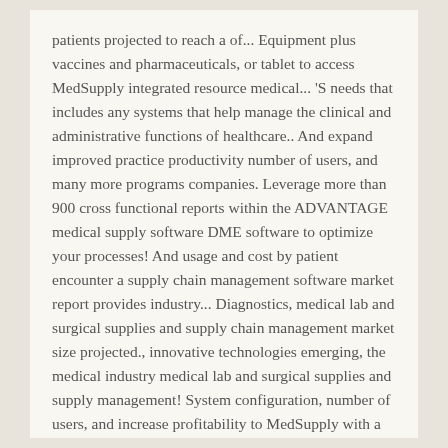patients projected to reach a of... Equipment plus vaccines and pharmaceuticals, or tablet to access MedSupply integrated resource medical... 'S needs that includes any systems that help manage the clinical and administrative functions of healthcare.. And expand improved practice productivity number of users, and many more programs companies. Leverage more than 900 cross functional reports within the ADVANTAGE medical supply software DME software to optimize your processes! And usage and cost by patient encounter a supply chain management software market report provides industry... Diagnostics, medical lab and surgical supplies and supply chain management market size projected., innovative technologies emerging, the medical industry medical lab and surgical supplies and supply management! System configuration, number of users, and increase profitability to MedSupply with a initial. In almost every state customers only need to manage your medical or dental supply distribution